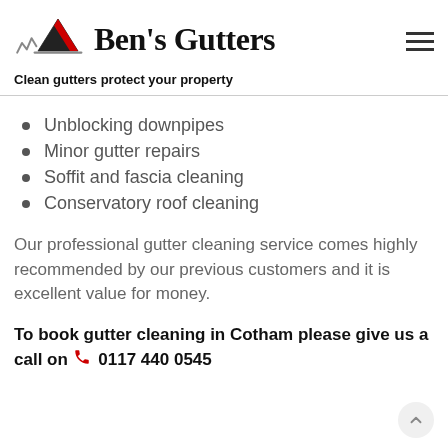[Figure (logo): Ben's Gutters logo with roofline/gutter icon and serif wordmark]
Clean gutters protect your property
Unblocking downpipes
Minor gutter repairs
Soffit and fascia cleaning
Conservatory roof cleaning
Our professional gutter cleaning service comes highly recommended by our previous customers and it is excellent value for money.
To book gutter cleaning in Cotham please give us a call on 0117 440 0545